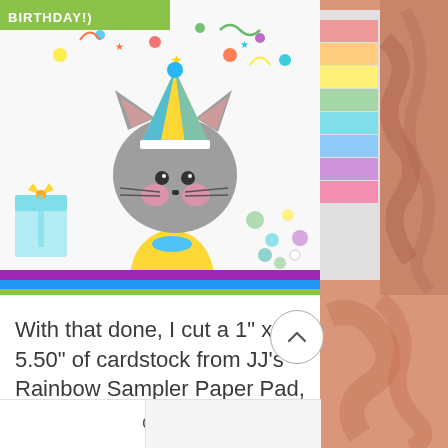[Figure (photo): Photo of a cute illustrated gray cat wearing a blue and yellow party hat and yellow shirt, with colorful confetti, star decorations, and a gift box. On the right side is a stack of rainbow colored cardstock paper and scattered metallic confetti. A green banner partially visible at top reads 'BIRTHDAY!'. Bottom of image shows colored paper strips in green, blue, purple.]
With that done, I cut a 1" x 5.50" of cardstock from JJ's Rainbow Sampler Paper Pad, stamped and
Chat